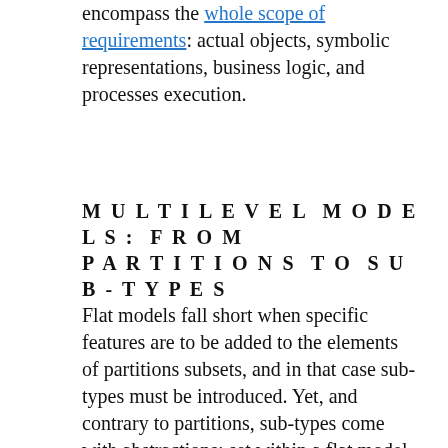encompass the whole scope of requirements: actual objects, symbolic representations, business logic, and processes execution.
MULTILEVEL MODELS: FROM PARTITIONS TO SUB-TYPES
Flat models fall short when specific features are to be added to the elements of partitions subsets, and in that case sub-types must be introduced. Yet, and contrary to partitions, sub-types come with abstractions: set within a flat model (i.e without sub-types), Car model fully describes all instances, but when sub-types sedan, coupe, and convertible are introduced, the Car model base type is nothing